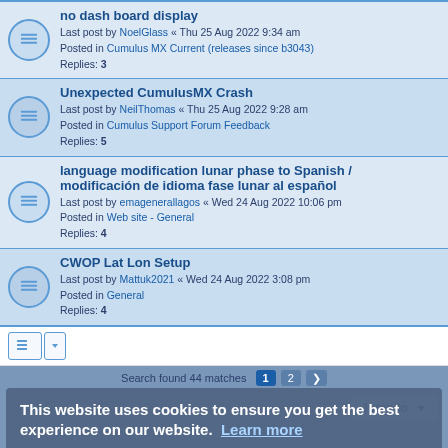no dash board display
Last post by NoelGlass « Thu 25 Aug 2022 9:34 am
Posted in Cumulus MX Current (releases since b3043)
Replies: 3
Unexpected CumulusMX Crash
Last post by NeilThomas « Thu 25 Aug 2022 9:28 am
Posted in Cumulus Support Forum Feedback
Replies: 5
language modification lunar phase to Spanish / modificación de idioma fase lunar al español
Last post by emagenerallagos « Wed 24 Aug 2022 10:06 pm
Posted in Web site - General
Replies: 4
CWOP Lat Lon Setup
Last post by Mattuk2021 « Wed 24 Aug 2022 3:08 pm
Posted in General
Replies: 4
Search found 44 matches  1  2  >
This website uses cookies to ensure you get the best experience on our website.  Learn more
Got it!
Board index  Contact us  Delete cookies  All times are UTC  Powered by phpBB® Forum Software © phpBB Limited  Privacy | Terms